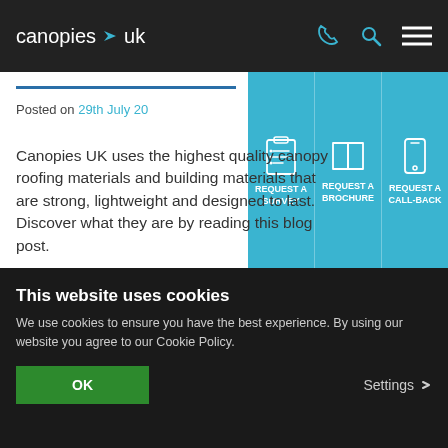canopies uk — navigation bar with phone, search, and menu icons
[Figure (infographic): Three light-blue dropdown panels: REQUEST A SURVEY (clipboard icon), REQUEST A BROCHURE (book icon), REQUEST A CALL-BACK (phone icon)]
Posted on 29th July 20
Canopies UK uses the highest quality canopy roofing materials and building materials that are strong, lightweight and designed to last. Discover what they are by reading this blog post.
Read more
This website uses cookies
We use cookies to ensure you have the best experience. By using our website you agree to our Cookie Policy.
OK
Settings